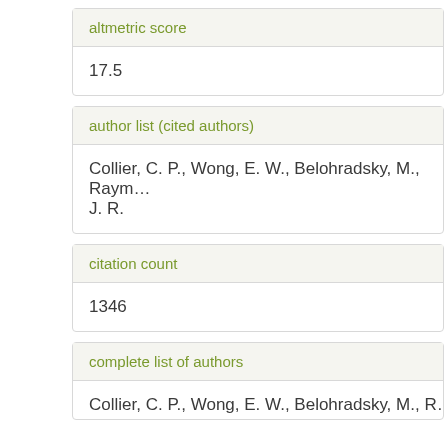altmetric score
17.5
author list (cited authors)
Collier, C. P., Wong, E. W., Belohradsky, M., Raym... J. R.
citation count
1346
complete list of authors
Collier, C. P., Wong, E. W., Belohradsky, M., R...